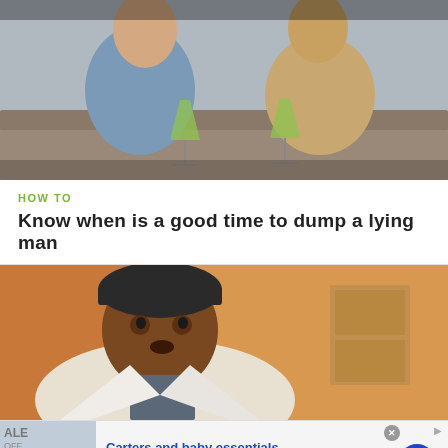[Figure (photo): Two people sitting on a couch holding green martini cocktail glasses]
HOW TO
Know when is a good time to dump a lying man
[Figure (photo): Close-up of a young Black man wearing a dark cap and white jacket, looking at the camera]
Carters and baby essentials
50% Off Carters & Baby Essentials - Baby Sale
www.belk.com